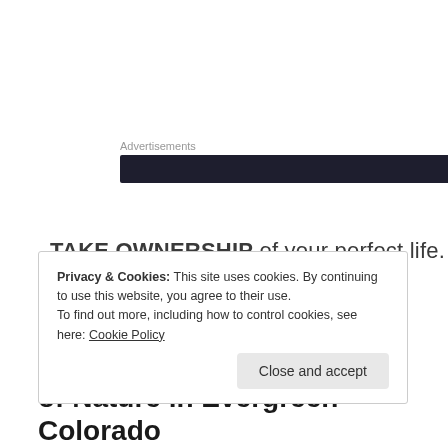Advertisements
[Figure (other): Dark advertisement banner bar]
TAKE OWNERSHIP of your perfect life.
xo
Privacy & Cookies: This site uses cookies. By continuing to use this website, you agree to their use.
To find out more, including how to control cookies, see here: Cookie Policy
Close and accept
of Nature in Evergreen Colorado